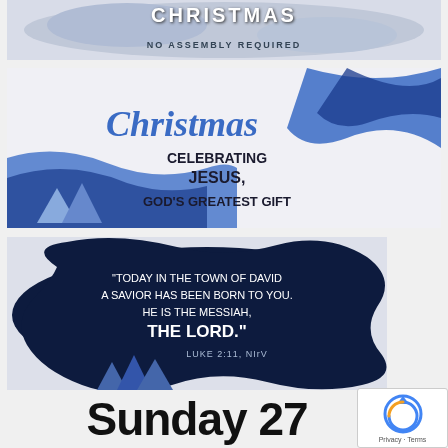[Figure (illustration): Christmas graphic with text 'CHRISTMAS' and 'NO ASSEMBLY REQUIRED' on a badge/sticker style illustration with blue and silver tones]
[Figure (illustration): Christmas banner image with blue paper-cut style waves and trees, text reads 'Christmas CELEBRATING JESUS, GOD'S GREATEST GIFT']
[Figure (illustration): Dark navy blue blob shape with white text: '"TODAY IN THE TOWN OF DAVID A SAVIOR HAS BEEN BORN TO YOU. HE IS THE MESSIAH, THE LORD." LUKE 2:11, NIrV' with blue trees at bottom]
Sunday 27